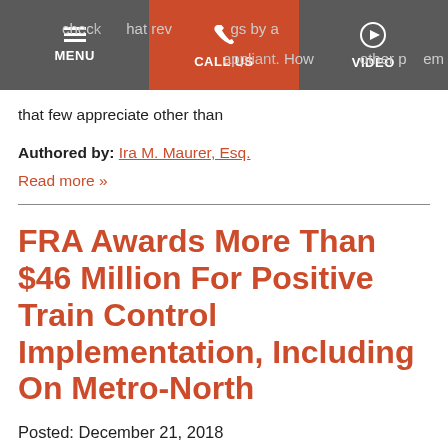[Figure (screenshot): Website navigation bar with dark grey background containing MENU (hamburger icon), CALL US (phone icon, orange background), and VIDEO (play icon) navigation items, with partial article text visible behind it]
that few appreciate other than
Authored by: Ira M. Maurer, Esq.
Read more »
FRA Awards More Than $46 Million For Positive Train Control Implementation, Including On Metro-North
Posted: December 21, 2018